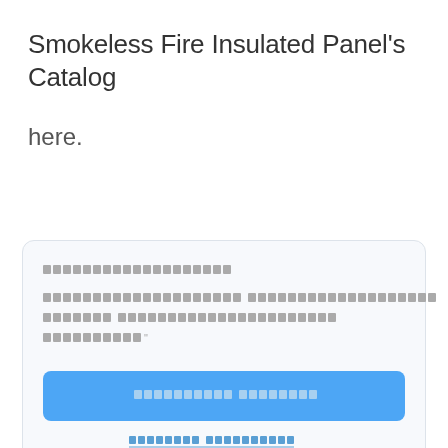Smokeless Fire Insulated Panel’s Catalog
here.
[Thai text block - login/registration form with Thai language content including a blue submit button and an underlined link]